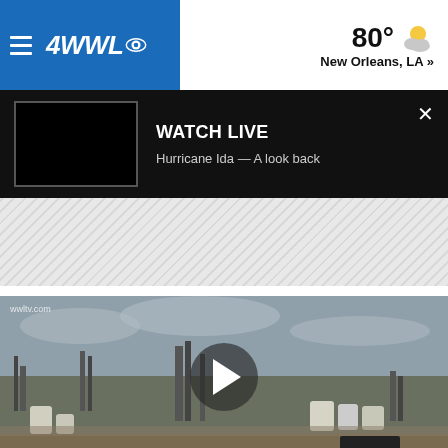[Figure (screenshot): 4WWL CBS News logo with hamburger menu on blue background, weather showing 80° and partly cloudy icon, New Orleans, LA location]
[Figure (screenshot): Watch Live banner with black video thumbnail, title 'WATCH LIVE', subtitle 'Hurricane Ida — A look back', and close X button]
[Figure (other): Diagonal hatched gray advertisement/banner area]
[Figure (photo): Aerial drone video still of an industrial facility/refinery with tanks and structures under overcast sky, with play button overlay. Watermark: wwltv.com]